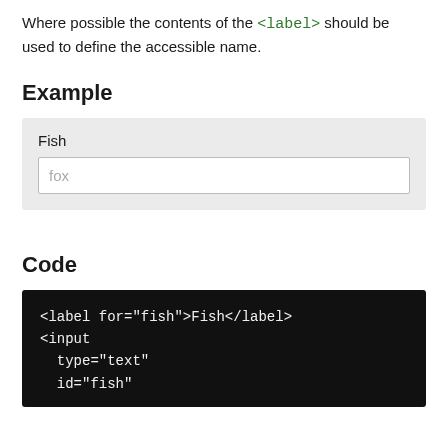Where possible the contents of the <label> should be used to define the accessible name.
Example
[Figure (screenshot): UI example showing a label 'Fish' above a text input containing the placeholder text 'fox']
Code
<label for="fish">Fish</label>
<input
  type="text"
  id="fish"